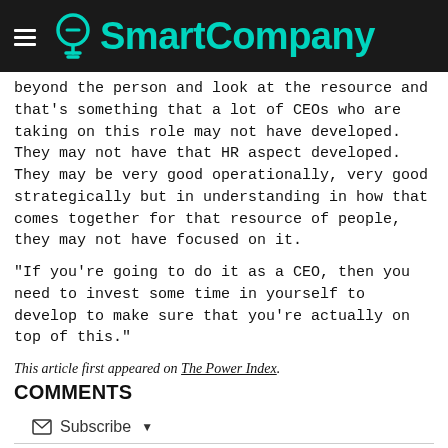SmartCompany
beyond the person and look at the resource and that's something that a lot of CEOs who are taking on this role may not have developed. They may not have that HR aspect developed. They may be very good operationally, very good strategically but in understanding in how that comes together for that resource of people, they may not have focused on it.
“If you’re going to do it as a CEO, then you need to invest some time in yourself to develop to make sure that you’re actually on top of this.”
This article first appeared on The Power Index.
COMMENTS
Subscribe